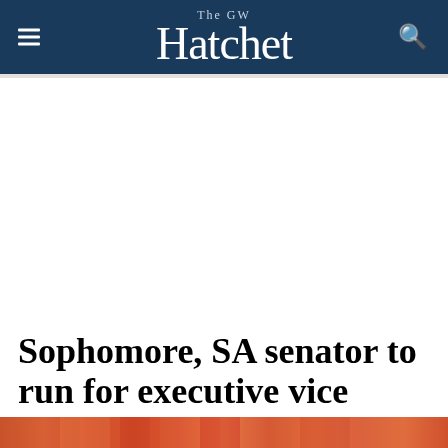The GW Hatchet
Sophomore, SA senator to run for executive vice president
[Figure (photo): Colorful abstract image at bottom of page, partially visible]